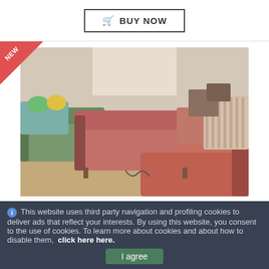BUY NOW
[Figure (photo): Photo of a used furniture store showing multiple salmon/orange-colored sofas and armchairs with wooden arms arranged in a showroom. Several other furniture pieces visible in the background.]
Sofa
★☆☆☆☆ (5 empty star rating)
48.79 €
This website uses third party navigation and profiling cookies to deliver ads that reflect your interests. By using this website, you consent to the use of cookies. To learn more about cookies and about how to disable them, click here here.
I agree